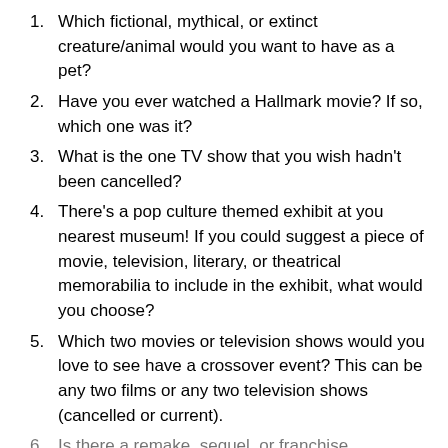Which fictional, mythical, or extinct creature/animal would you want to have as a pet?
Have you ever watched a Hallmark movie? If so, which one was it?
What is the one TV show that you wish hadn't been cancelled?
There's a pop culture themed exhibit at you nearest museum! If you could suggest a piece of movie, television, literary, or theatrical memorabilia to include in the exhibit, what would you choose?
Which two movies or television shows would you love to see have a crossover event? This can be any two films or any two television shows (cancelled or current).
Is there a remake, sequel, or franchise...